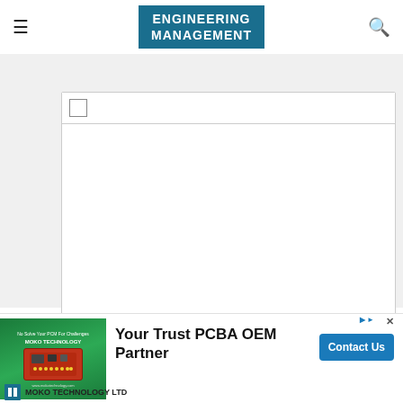ENGINEERING MANAGEMENT
[Figure (screenshot): Embedded content box with toolbar showing a checkbox, large white empty content area below it]
[Figure (screenshot): Chevron/collapse button pointing downward]
[Figure (infographic): Advertisement banner for MOKO TECHNOLOGY LTD - Your Trust PCBA OEM Partner with Contact Us button, green PCB image on left, AdChoices icon top right]